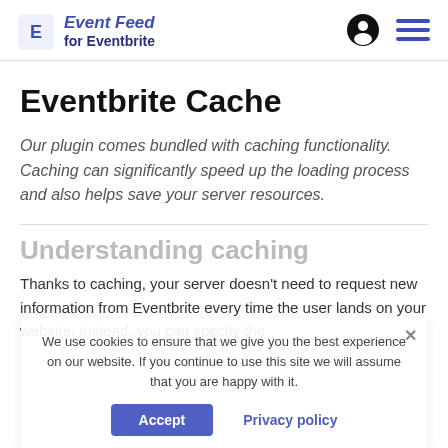Event Feed for Eventbrite
Eventbrite Cache
Our plugin comes bundled with caching functionality. Caching can significantly speed up the loading process and also helps save your server resources.
Understanding caching
Thanks to caching, your server doesn't need to request new information from Eventbrite every time the user lands on your website. Instead, you can specify the
We use cookies to ensure that we give you the best experience on our website. If you continue to use this site we will assume that you are happy with it.